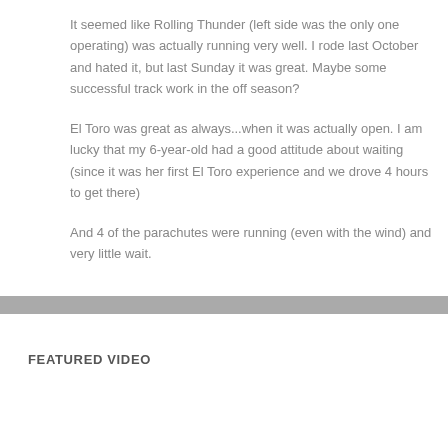It seemed like Rolling Thunder (left side was the only one operating) was actually running very well. I rode last October and hated it, but last Sunday it was great. Maybe some successful track work in the off season?
El Toro was great as always...when it was actually open. I am lucky that my 6-year-old had a good attitude about waiting (since it was her first El Toro experience and we drove 4 hours to get there)
And 4 of the parachutes were running (even with the wind) and very little wait.
FEATURED VIDEO